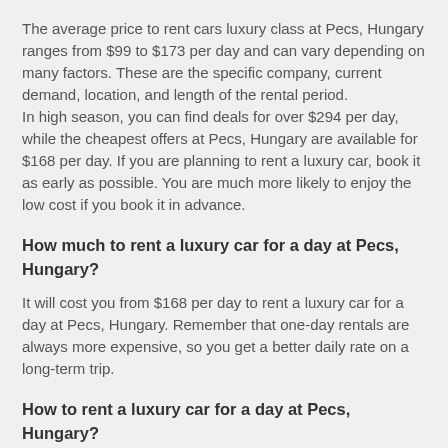The average price to rent cars luxury class at Pecs, Hungary ranges from $99 to $173 per day and can vary depending on many factors. These are the specific company, current demand, location, and length of the rental period.
In high season, you can find deals for over $294 per day, while the cheapest offers at Pecs, Hungary are available for $168 per day. If you are planning to rent a luxury car, book it as early as possible. You are much more likely to enjoy the low cost if you book it in advance.
How much to rent a luxury car for a day at Pecs, Hungary?
It will cost you from $168 per day to rent a luxury car for a day at Pecs, Hungary. Remember that one-day rentals are always more expensive, so you get a better daily rate on a long-term trip.
How to rent a luxury car for a day at Pecs, Hungary?
You just need to find the search form at the top of the page